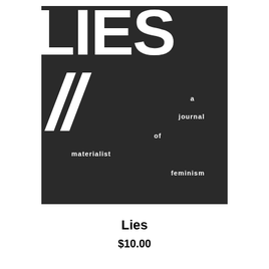[Figure (illustration): Book cover for 'LIES II: a journal of materialist feminism'. Black background with large white bold uppercase text 'LIES' at the top, two large white italic forward slashes '// ' below, and scattered white small bold text reading 'a', 'journal', 'of', 'materialist', 'feminism' at various positions on the right and lower portion of the cover.]
Lies
$10.00